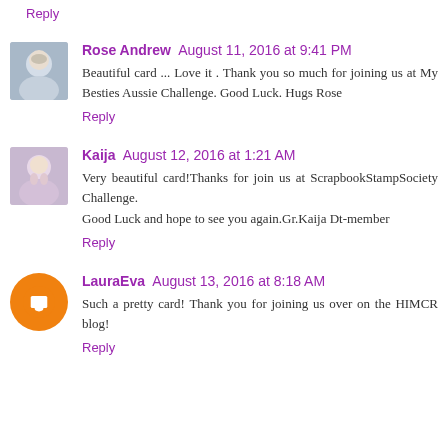Reply
Rose Andrew  August 11, 2016 at 9:41 PM
Beautiful card ... Love it . Thank you so much for joining us at My Besties Aussie Challenge. Good Luck. Hugs Rose
Reply
Kaija  August 12, 2016 at 1:21 AM
Very beautiful card!Thanks for join us at ScrapbookStampSociety Challenge.
Good Luck and hope to see you again.Gr.Kaija Dt-member
Reply
LauraEva  August 13, 2016 at 8:18 AM
Such a pretty card! Thank you for joining us over on the HIMCR blog!
Reply